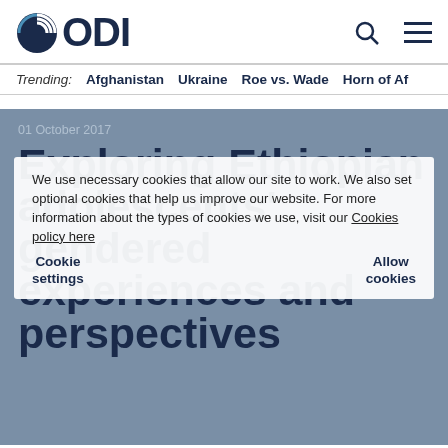ODI
Trending: Afghanistan   Ukraine   Roe vs. Wade   Horn of Af
01 October 2017
Exploring Ethiopian adolescents' gendered experiences and perspectives
We use necessary cookies that allow our site to work. We also set optional cookies that help us improve our website. For more information about the types of cookies we use, visit our Cookies policy here
Cookie settings   Allow cookies
Briefing/policy papers ~ Nicola Jones